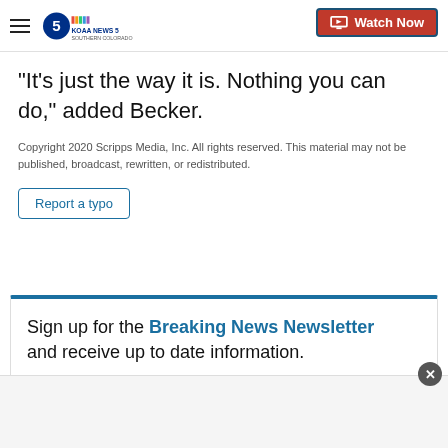KOAA News5 Southern Colorado — Watch Now
“It’s just the way it is. Nothing you can do,” added Becker.
Copyright 2020 Scripps Media, Inc. All rights reserved. This material may not be published, broadcast, rewritten, or redistributed.
Report a typo
Sign up for the Breaking News Newsletter and receive up to date information.
E-mail